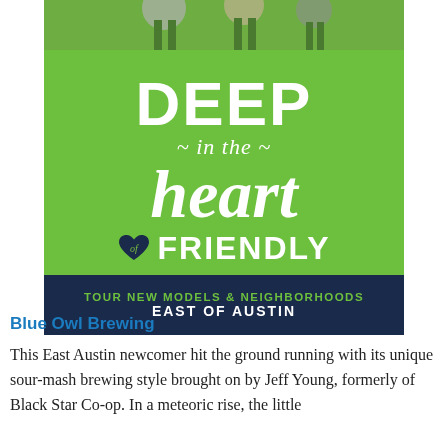[Figure (illustration): Promotional advertisement image reading 'Deep in the heart of Friendly – Tour New Models & Neighborhoods East of Austin'. Green background with white bold typography and navy blue banner at the bottom. People playing at top.]
Blue Owl Brewing
This East Austin newcomer hit the ground running with its unique sour-mash brewing style brought on by Jeff Young, formerly of Black Star Co-op. In a meteoric rise, the little